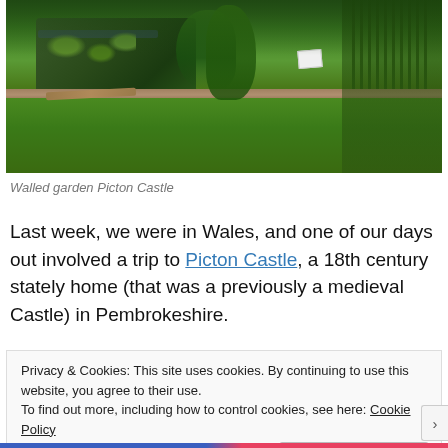[Figure (photo): Photo of a walled garden with a pond, lily pads, tall green reeds/plants, a wooden boardwalk edge, and a broad green lawn in the foreground. Located at Picton Castle.]
Walled garden Picton Castle
Last week, we were in Wales, and one of our days out involved a trip to Picton Castle, a 18th century stately home (that was a previously a medieval Castle) in Pembrokeshire.
Privacy & Cookies: This site uses cookies. By continuing to use this website, you agree to their use.
To find out more, including how to control cookies, see here: Cookie Policy